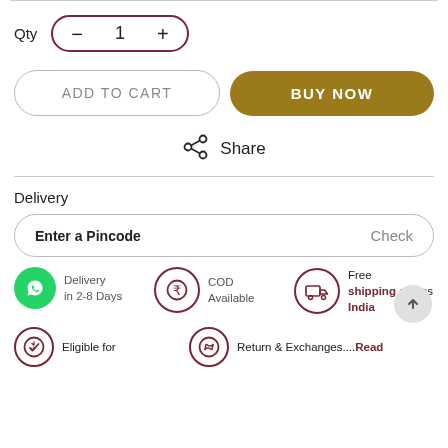Qty  -  1  +
ADD TO CART
BUY NOW
Share
Delivery
Enter a Pincode   Check
Delivery in 2-8 Days
COD Available
Free shipping across India
Eligible for
Return & Exchanges....Read